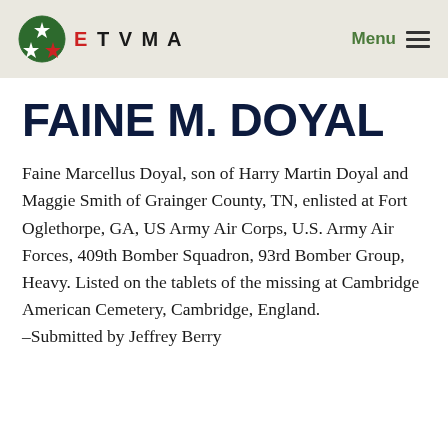ETVMA  Menu
FAINE M. DOYAL
Faine Marcellus Doyal, son of Harry Martin Doyal and Maggie Smith of Grainger County, TN, enlisted at Fort Oglethorpe, GA, US Army Air Corps, U.S. Army Air Forces, 409th Bomber Squadron, 93rd Bomber Group, Heavy. Listed on the tablets of the missing at Cambridge American Cemetery, Cambridge, England.
–Submitted by Jeffrey Berry